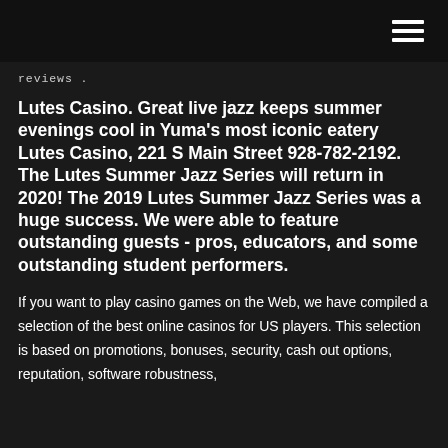☰ (navigation menu icon)
reviews .
Lutes Casino. Great live jazz keeps summer evenings cool in Yuma's most iconic eatery Lutes Casino, 221 S Main Street 928-782-2192. The Lutes Summer Jazz Series will return in 2020! The 2019 Lutes Summer Jazz Series was a huge success. We were able to feature outstanding guests - pros, educators, and some outstanding student performers.
If you want to play casino games on the Web, we have compiled a selection of the best online casinos for US players. This selection is based on promotions, bonuses, security, cash out options, reputation, software robustness,